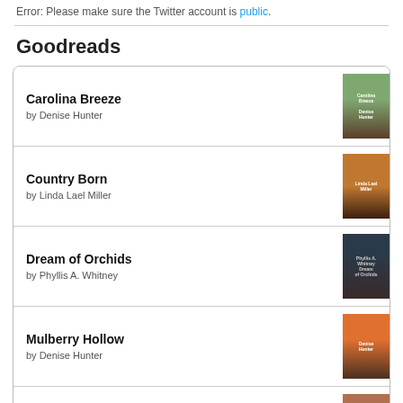Error: Please make sure the Twitter account is public.
Goodreads
Carolina Breeze by Denise Hunter
Country Born by Linda Lael Miller
Dream of Orchids by Phyllis A. Whitney
Mulberry Hollow by Denise Hunter
Texas Lonesome